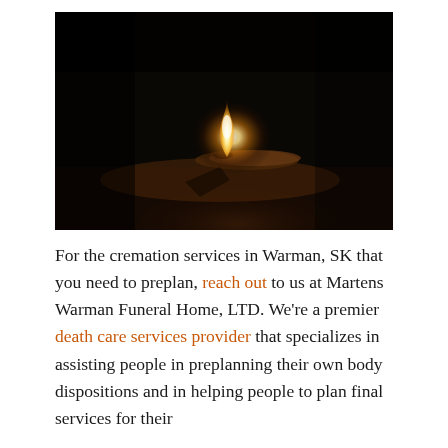[Figure (photo): A dark photograph of an oil lamp or diya with a small flame glowing in darkness, sitting on a sandy or earthy surface. The flame is bright white-yellow at center, and dim warm light illuminates the base below.]
For the cremation services in Warman, SK that you need to preplan, reach out to us at Martens Warman Funeral Home, LTD. We're a premier death care services provider that specializes in assisting people in preplanning their own body dispositions and in helping people to plan final services for their